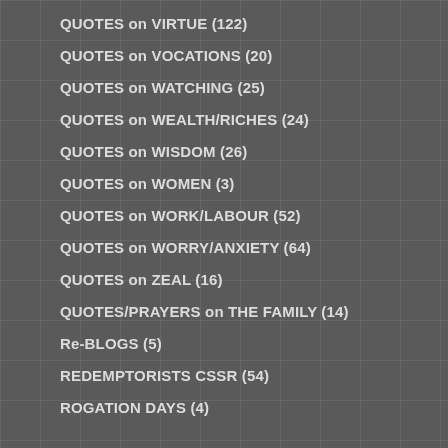QUOTES on VIRTUE (122)
QUOTES on VOCATIONS (20)
QUOTES on WATCHING (25)
QUOTES on WEALTH/RICHES (24)
QUOTES on WISDOM (26)
QUOTES on WOMEN (3)
QUOTES on WORK/LABOUR (52)
QUOTES on WORRY/ANXIETY (64)
QUOTES on ZEAL (16)
QUOTES/PRAYERS on THE FAMILY (14)
Re-BLOGS (5)
REDEMPTORISTS CSSR (54)
ROGATION DAYS (4)